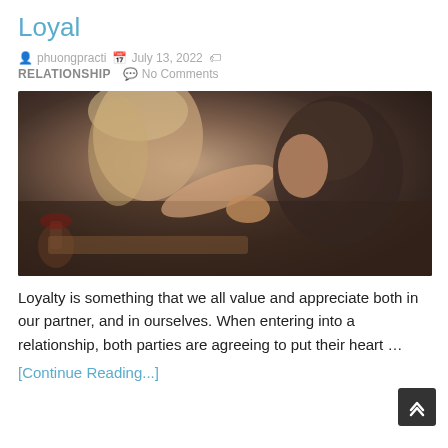Loyal
phuongpracti   July 13, 2022   RELATIONSHIP   No Comments
[Figure (photo): A man kissing a woman's hand at a dinner table, romantic couple scene with wine glass visible, blurred bokeh background.]
Loyalty is something that we all value and appreciate both in our partner, and in ourselves. When entering into a relationship, both parties are agreeing to put their heart …
[Continue Reading...]